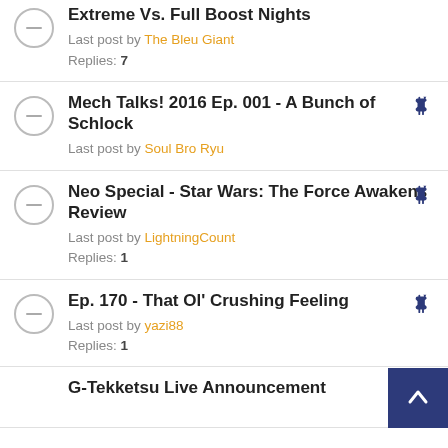Extreme Vs. Full Boost Nights
Last post by The Bleu Giant
Replies: 7
Mech Talks! 2016 Ep. 001 - A Bunch of Schlock
Last post by Soul Bro Ryu
Neo Special - Star Wars: The Force Awakens Review
Last post by LightningCount
Replies: 1
Ep. 170 - That Ol' Crushing Feeling
Last post by yazi88
Replies: 1
G-Tekketsu Live Announcement